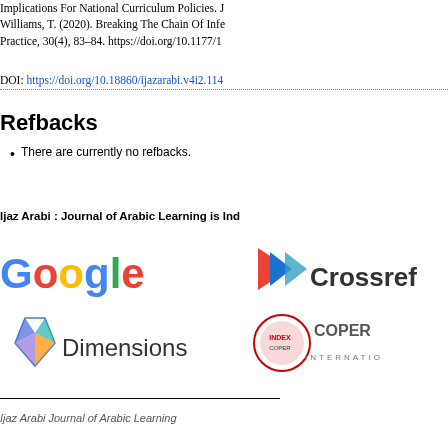Implications For National Curriculum Policies. J
Williams, T. (2020). Breaking The Chain Of Infe Practice, 30(4), 83–84. https://doi.org/10.1177/1
DOI: https://doi.org/10.18860/ijazarabi.v4i2.114
Refbacks
There are currently no refbacks.
Ijaz Arabi : Journal of Arabic Learning is Ind
[Figure (logo): Google logo and Crossref logo side by side]
[Figure (logo): Dimensions logo and Index Copernicus International logo side by side]
Ijaz Arabi Journal of Arabic Learning